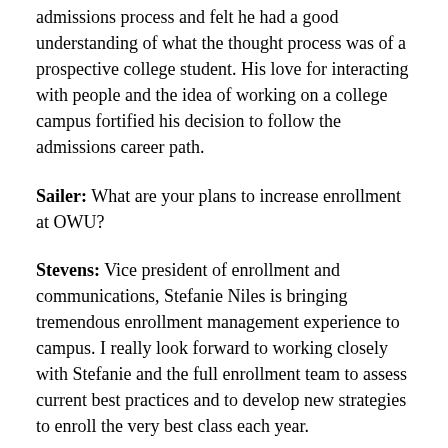admissions process and felt he had a good understanding of what the thought process was of a prospective college student. His love for interacting with people and the idea of working on a college campus fortified his decision to follow the admissions career path.
Sailer: What are your plans to increase enrollment at OWU?
Stevens: Vice president of enrollment and communications, Stefanie Niles is bringing tremendous enrollment management experience to campus. I really look forward to working closely with Stefanie and the full enrollment team to assess current best practices and to develop new strategies to enroll the very best class each year.
Sailer: In the...